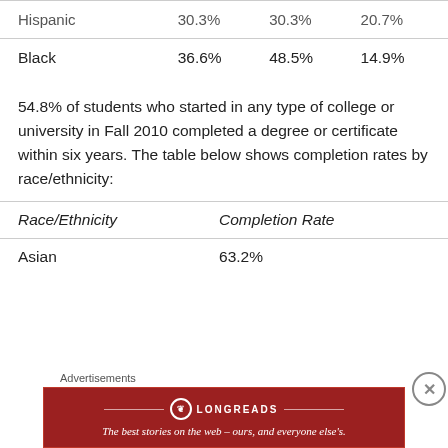| Race/Ethnicity | Col1 | Col2 | Col3 |
| --- | --- | --- | --- |
| Hispanic | 30.3% | 30.3% | 20.7% |
| Black | 36.6% | 48.5% | 14.9% |
54.8% of students who started in any type of college or university in Fall 2010 completed a degree or certificate within six years. The table below shows completion rates by race/ethnicity:
| Race/Ethnicity | Completion Rate |
| --- | --- |
| Asian | 63.2% |